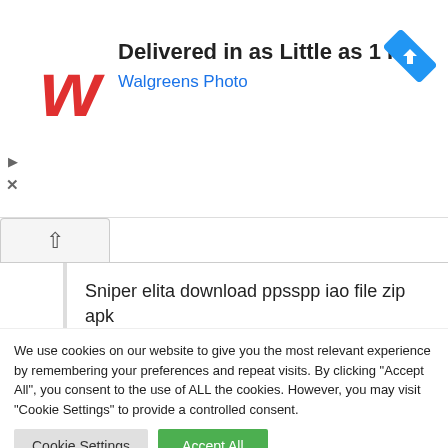[Figure (logo): Walgreens stylized red W logo]
Delivered in as Little as 1 Hr
Walgreens Photo
Sniper elita download ppsspp iao file zip apk
Reply
We use cookies on our website to give you the most relevant experience by remembering your preferences and repeat visits. By clicking “Accept All”, you consent to the use of ALL the cookies. However, you may visit “Cookie Settings” to provide a controlled consent.
Cookie Settings
Accept All